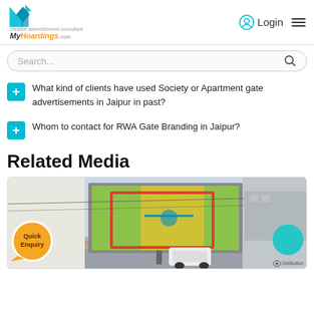[Figure (screenshot): MyHoardings.com website header with logo, Login button and hamburger menu]
[Figure (screenshot): Search bar with placeholder text 'Search...' and magnifying glass icon]
What kind of clients have used Society or Apartment gate advertisements in Jaipur in past?
Whom to contact for RWA Gate Branding in Jaipur?
Related Media
[Figure (photo): A billboard/hoarding display on a road with traffic, showing a green and yellow creative, with a red border highlighting the hoarding]